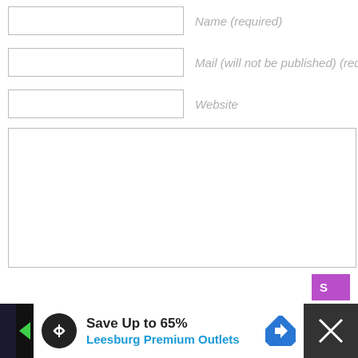Name (required)
Mail (will not be published) (required)
Website
[Figure (other): Submit button (purple/magenta, partially visible, labelled S)]
Notify me of followup comments via e-mail
[Figure (infographic): Advertisement banner: Save Up to 65% Leesburg Premium Outlets, with logo and navigation arrow icon, dark side panels]